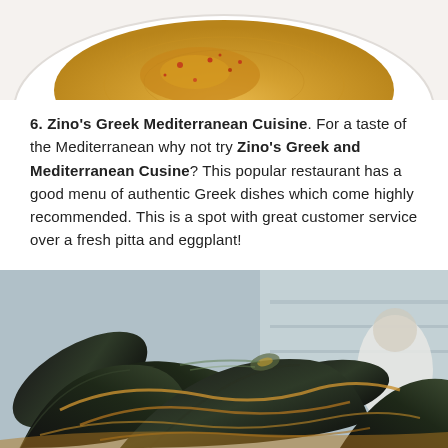[Figure (photo): Close-up photo of hummus in a white bowl with olive oil and paprika, cropped to show only the top portion]
6. Zino's Greek Mediterranean Cuisine. For a taste of the Mediterranean why not try Zino's Greek and Mediterranean Cusine? This popular restaurant has a good menu of authentic Greek dishes which come highly recommended. This is a spot with great customer service over a fresh pitta and eggplant!
[Figure (photo): Close-up photo of mussels in a broth with noodles/seaweed, with a restaurant kitchen visible in the background]